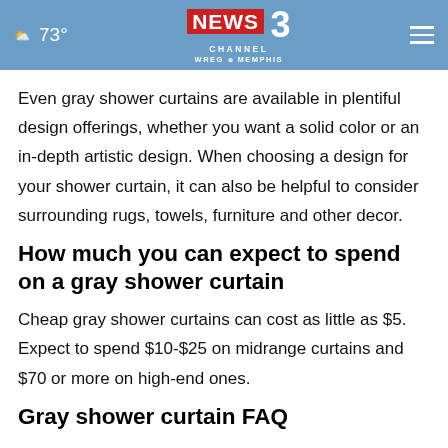73° NEWS 3 CHANNEL WREG MEMPHIS
Even gray shower curtains are available in plentiful design offerings, whether you want a solid color or an in-depth artistic design. When choosing a design for your shower curtain, it can also be helpful to consider surrounding rugs, towels, furniture and other decor.
How much you can expect to spend on a gray shower curtain
Cheap gray shower curtains can cost as little as $5. Expect to spend $10-$25 on midrange curtains and $70 or more on high-end ones.
Gray shower curtain FAQ